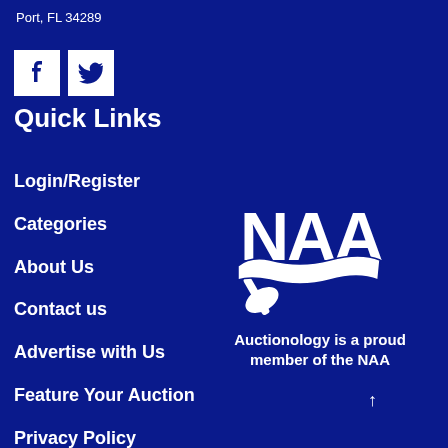Port, FL 34289
[Figure (logo): Facebook and Twitter social media icons (white icons on white square backgrounds)]
Quick Links
Login/Register
Categories
About Us
Contact us
Advertise with Us
Feature Your Auction
Privacy Policy
Terms and Conditions
[Figure (logo): NAA (National Auctioneers Association) logo with gavel graphic, white on dark blue background]
Auctionology is a proud member of the NAA